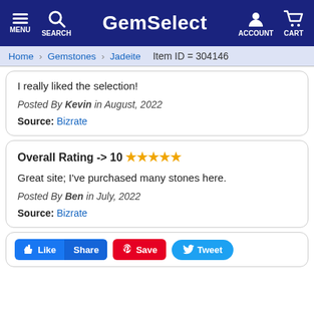GemSelect — MENU SEARCH ACCOUNT CART
Home > Gemstones > Jadeite   Item ID = 304146
I really liked the selection!
Posted By Kevin in August, 2022
Source: Bizrate
Overall Rating -> 10 ★★★★★
Great site; I've purchased many stones here.
Posted By Ben in July, 2022
Source: Bizrate
👍 Like   Share   🅟 Save   🐦 Tweet